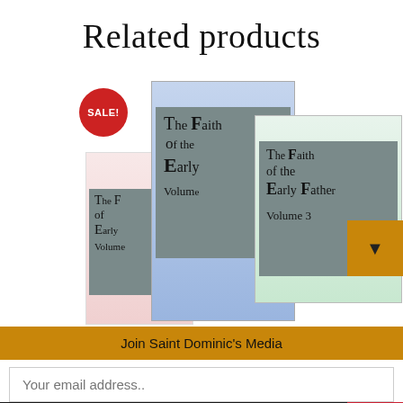Related products
[Figure (photo): Stack of three book volumes titled 'The Faith of the Early Fathers' Volume 1, 2, and 3 with a red SALE! badge in the top left]
Join Saint Dominic's Media
Your email address..
Join